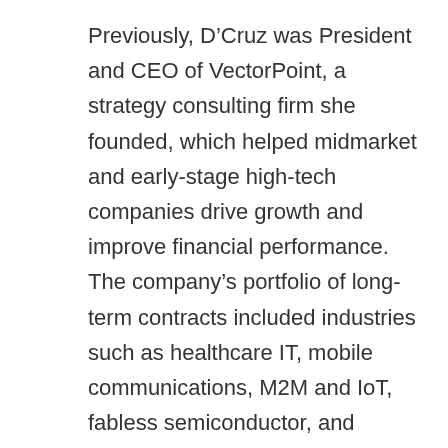Previously, D’Cruz was President and CEO of VectorPoint, a strategy consulting firm she founded, which helped midmarket and early-stage high-tech companies drive growth and improve financial performance. The company’s portfolio of long-term contracts included industries such as healthcare IT, mobile communications, M2M and IoT, fabless semiconductor, and enterprise professional services.

As President/GM of Tekelec’s Switching Solutions Group, D’Cruz held P&L